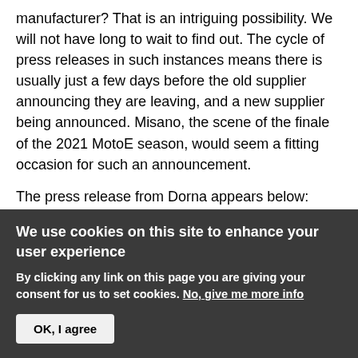manufacturer? That is an intriguing possibility. We will not have long to wait to find out. The cycle of press releases in such instances means there is usually just a few days before the old supplier announcing they are leaving, and a new supplier being announced. Misano, the scene of the finale of the 2021 MotoE season, would seem a fitting occasion for such an announcement.
The press release from Dorna appears below:
Energica to conclude era as single MotoE™ manufacturer after 2022
We use cookies on this site to enhance your user experience
By clicking any link on this page you are giving your consent for us to set cookies. No, give me more info
OK, I agree